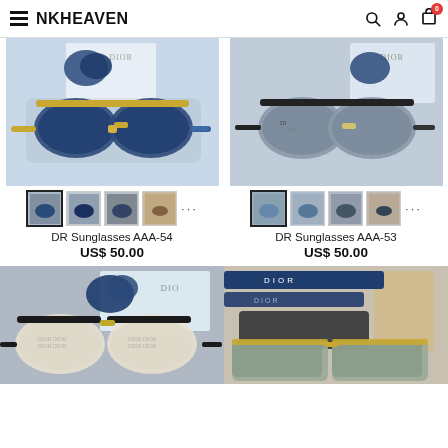NKHEAVEN
[Figure (photo): Product photo of DR Sunglasses AAA-54, gold/blue aviator sunglasses with Dior branding, shown with blue ribbon and Dior box]
[Figure (photo): Product photo of DR Sunglasses AAA-53, black frame aviator sunglasses with Dior monogram lenses, shown with blue ribbon and Dior box]
DR Sunglasses AAA-54
US$ 50.00
DR Sunglasses AAA-53
US$ 50.00
[Figure (photo): Partial product photo of Dior aviator sunglasses with Dior monogram lenses and blue ribbon packaging]
[Figure (photo): Partial product photo of Dior square sunglasses with grey lenses and Dior branded ribbon/case packaging]